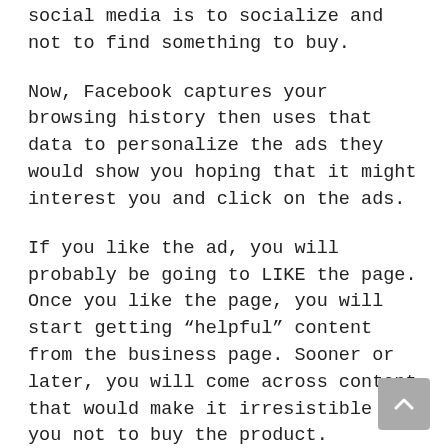social media is to socialize and not to find something to buy.
Now, Facebook captures your browsing history then uses that data to personalize the ads they would show you hoping that it might interest you and click on the ads.
If you like the ad, you will probably be going to LIKE the page. Once you like the page, you will start getting “helpful” content from the business page. Sooner or later, you will come across content that would make it irresistible for you not to buy the product.
Contrast that to Pinterest! You probably always go to Pinterest’s “search bar” and type in specific